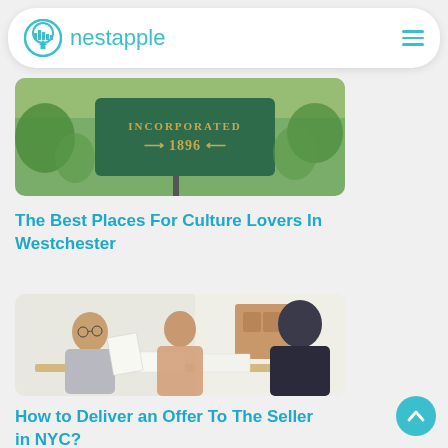nestapple
[Figure (photo): A green town sign reading 'INCORPORATED 1896' with trees in background]
The Best Places For Culture Lovers In Westchester
[Figure (photo): An older couple sitting at a table reviewing documents with a real estate agent]
How to Deliver an Offer To The Seller in NYC?